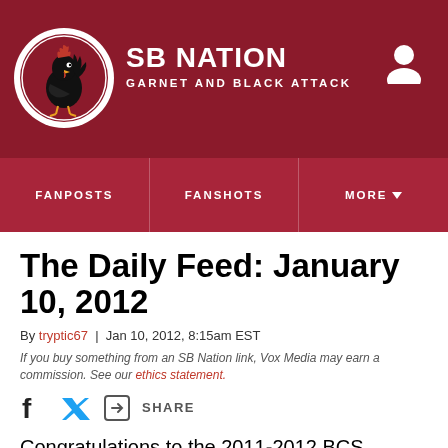SB NATION | GARNET AND BLACK ATTACK
FANPOSTS | FANSHOTS | MORE
The Daily Feed: January 10, 2012
By tryptic67 | Jan 10, 2012, 8:15am EST
If you buy something from an SB Nation link, Vox Media may earn a commission. See our ethics statement.
SHARE
Congratulations to the 2011-2012 BCS National Champion University of Alabama Crimson Tide, the